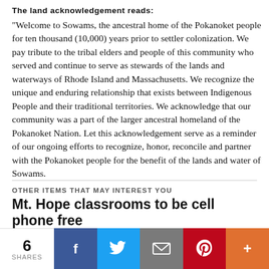The land acknowledgement reads:
"Welcome to Sowams, the ancestral home of the Pokanoket people for ten thousand (10,000) years prior to settler colonization. We pay tribute to the tribal elders and people of this community who served and continue to serve as stewards of the lands and waterways of Rhode Island and Massachusetts. We recognize the unique and enduring relationship that exists between Indigenous People and their traditional territories. We acknowledge that our community was a part of the larger ancestral homeland of the Pokanoket Nation. Let this acknowledgement serve as a reminder of our ongoing efforts to recognize, honor, reconcile and partner with the Pokanoket people for the benefit of the lands and water of Sowams.
OTHER ITEMS THAT MAY INTEREST YOU
Mt. Hope classrooms to be cell phone free
6 SHARES | Facebook | Twitter | Email | Pinterest | More